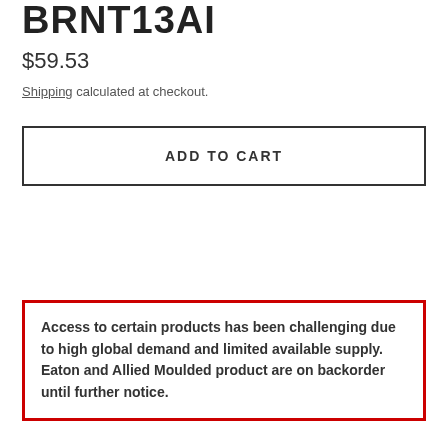BRNT13AI
$59.53
Shipping calculated at checkout.
ADD TO CART
Access to certain products has been challenging due to high global demand and limited available supply. Eaton and Allied Moulded product are on backorder until further notice.